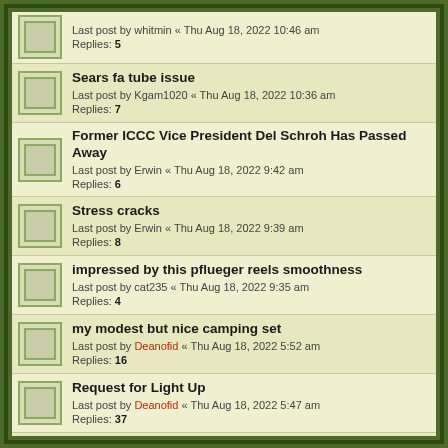Replies: 5
Sears fa tube issue
Last post by Kgam1020 « Thu Aug 18, 2022 10:36 am
Replies: 7
Former ICCC Vice President Del Schroh Has Passed Away
Last post by Erwin « Thu Aug 18, 2022 9:42 am
Replies: 6
Stress cracks
Last post by Erwin « Thu Aug 18, 2022 9:39 am
Replies: 8
impressed by this pflueger reels smoothness
Last post by cat235 « Thu Aug 18, 2022 9:35 am
Replies: 4
my modest but nice camping set
Last post by Deanofid « Thu Aug 18, 2022 5:52 am
Replies: 16
Request for Light Up
Last post by Deanofid « Thu Aug 18, 2022 5:47 am
Replies: 37
time for the johnson to get wet in a lake
Last post by Gasman64 « Thu Aug 18, 2022 4:57 am
Replies: 11
Happy 229 day!
Last post by Coldwaterpaddler « Thu Aug 18, 2022 4:04 am